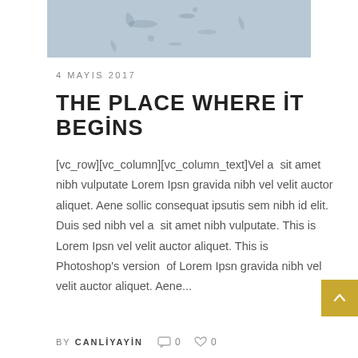[Figure (photo): A close-up photo of water surface with a light blue-grey color and some dark ink or particle dispersions visible.]
4 MAYIS 2017
THE PLACE WHERE İT BEGİNS
[vc_row][vc_column][vc_column_text]Vel a  sit amet nibh vulputate Lorem Ipsn gravida nibh vel velit auctor aliquet. Aene sollic consequat ipsutis sem nibh id elit. Duis sed nibh vel a  sit amet nibh vulputate. This is Lorem Ipsn vel velit auctor aliquet. This is Photoshop's version  of Lorem Ipsn gravida nibh vel velit auctor aliquet. Aene...
BY CANLIYAYIN  0  0